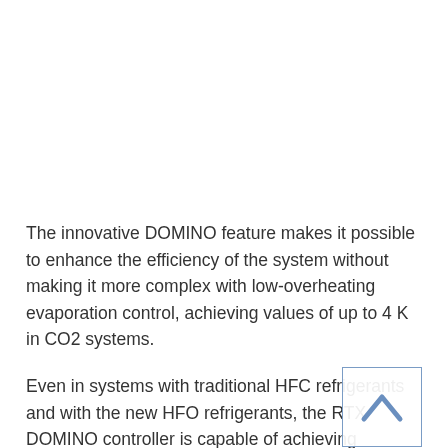The innovative DOMINO feature makes it possible to enhance the efficiency of the system without making it more complex with low-overheating evaporation control, achieving values of up to 4 K in CO2 systems.
Even in systems with traditional HFC refrigerants and with the new HFO refrigerants, the RTX DOMINO controller is capable of achieving extremely limited overheating values - up to 2.6 K - which makes it possible to raise the suction setpoint of the compressor